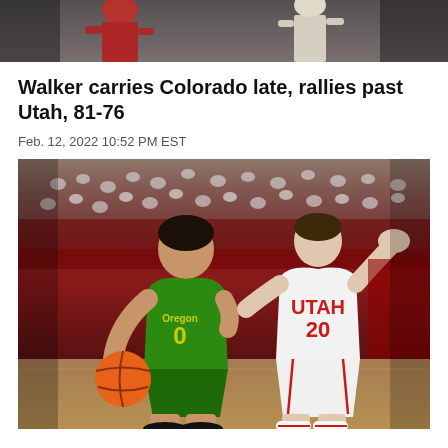[Figure (photo): Top cropped photo of basketball players on court, partial view]
Walker carries Colorado late, rallies past Utah, 81-76
Feb. 12, 2022 10:52 PM EST
[Figure (photo): Basketball game photo showing Oregon player #0 in green jersey dribbling ball while Utah player #20 in white jersey defends, with crowd in background]